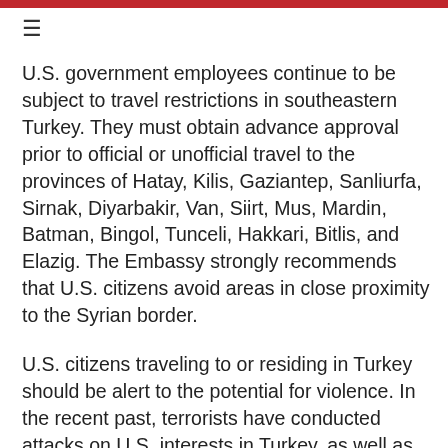U.S. government employees continue to be subject to travel restrictions in southeastern Turkey. They must obtain advance approval prior to official or unofficial travel to the provinces of Hatay, Kilis, Gaziantep, Sanliurfa, Sirnak, Diyarbakir, Van, Siirt, Mus, Mardin, Batman, Bingol, Tunceli, Hakkari, Bitlis, and Elazig. The Embassy strongly recommends that U.S. citizens avoid areas in close proximity to the Syrian border.
U.S. citizens traveling to or residing in Turkey should be alert to the potential for violence. In the recent past, terrorists have conducted attacks on U.S. interests in Turkey, as well as at sites frequented by foreign tourists. We strongly urge U.S. citizens to avoid demonstrations and large gatherings. Even demonstrations intended to be peaceful can turn confrontational and escalate into